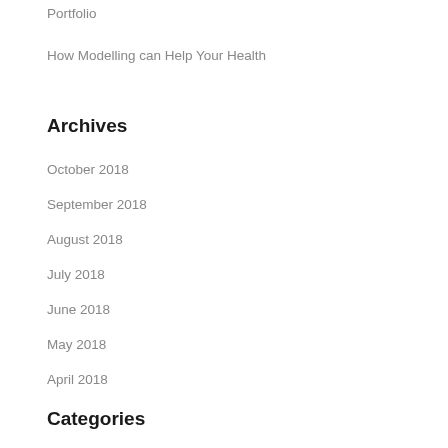Portfolio
How Modelling can Help Your Health
Archives
October 2018
September 2018
August 2018
July 2018
June 2018
May 2018
April 2018
Categories
Modelling Business
Tips
UK Models